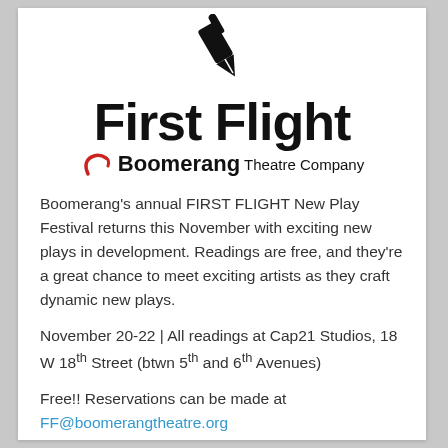[Figure (logo): First Flight Boomerang Theatre Company logo: a pen/quill nib icon above large bold text 'First Flight' and the Boomerang Theatre Company logo with a red boomerang curl mark]
Boomerang's annual FIRST FLIGHT New Play Festival returns this November with exciting new plays in development. Readings are free, and they're a great chance to meet exciting artists as they craft dynamic new plays.
November 20-22 | All readings at Cap21 Studios, 18 W 18th Street (btwn 5th and 6th Avenues)
Free!! Reservations can be made at FF@boomerangtheatre.org
More info for both of these stellar events can be found